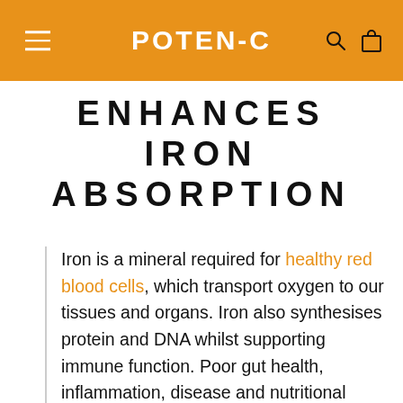POTEN-C
ENHANCES IRON ABSORPTION
Iron is a mineral required for healthy red blood cells, which transport oxygen to our tissues and organs. Iron also synthesises protein and DNA whilst supporting immune function. Poor gut health, inflammation, disease and nutritional combinations affect iron